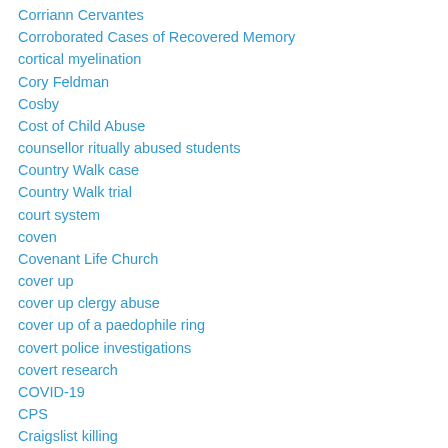Corriann Cervantes
Corroborated Cases of Recovered Memory
cortical myelination
Cory Feldman
Cosby
Cost of Child Abuse
counsellor ritually abused students
Country Walk case
Country Walk trial
court system
coven
Covenant Life Church
cover up
cover up clergy abuse
cover up of a paedophile ring
covert police investigations
covert research
COVID-19
CPS
Craigslist killing